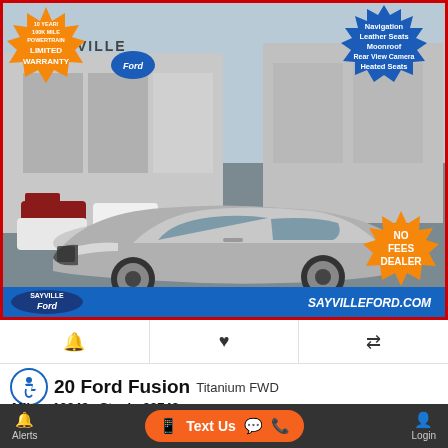[Figure (photo): Silver 2020 Ford Fusion Titanium FWD at Sayville Ford dealership lot. Orange starburst badge top-left reading '10 YEAR/100K MILE POWERTRAIN LIMITED WARRANTY'. Blue starburst badge top-right listing features: Navigation, Leather Seats, Moonroof, Rear View Camera, Heated Seats. Orange starburst bottom-right reading 'NO FEES DEALER'. Blue bar at bottom with Sayville Ford logo and SAYVILLEFORD.COM text.]
🔔  ♥  ⇄
20 Ford Fusion Titanium FWD
Miles: 19949  Stock: 38748
Alerts   Text Us   Login